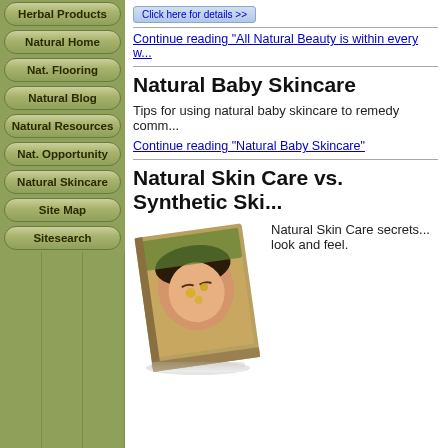Herbal Products
Natural Home
Nat. Flooring
Natural Blog
Natural Resources
Nat. Opportunity
Natural Skincare
Site Map
Sitesearch
Click here for details >>
Continue reading "All Natural Beauty is within every w..."
Natural Baby Skincare
Tips for using natural baby skincare to remedy comm...
Continue reading "Natural Baby Skincare"
Natural Skin Care vs. Synthetic Ski...
[Figure (photo): Book cover showing a woman with a face mask and flowers]
Natural Skin Care secrets... look and feel.